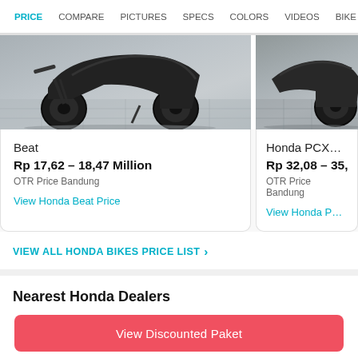PRICE  COMPARE  PICTURES  SPECS  COLORS  VIDEOS  BIKE DEALE
[Figure (photo): Honda Beat scooter motorcycle photo, front wheel and lower body visible on tiled floor]
[Figure (photo): Honda PCX160 scooter motorcycle photo, partial view on tiled floor]
Beat
Rp 17,62 – 18,47 Million
OTR Price Bandung
View Honda Beat Price
Honda PCX160
Rp 32,08 – 35,51 Mil
OTR Price Bandung
View Honda PCX160 Pri
VIEW ALL HONDA BIKES PRICE LIST ›
Nearest Honda Dealers
View Discounted Paket